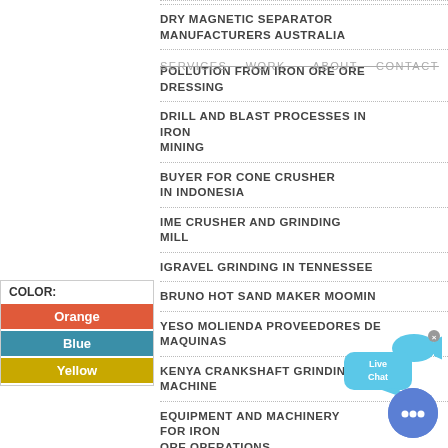DRY MAGNETIC SEPARATOR MANUFACTURERS AUSTRALIA
SERVICES   WORK      ABOUT   CONTACT
POLLUTION FROM IRON ORE ORE DRESSING
DRILL AND BLAST PROCESSES IN IRON MINING
BUYER FOR CONE CRUSHER IN INDONESIA
IME CRUSHER AND GRINDING MILL
IGRAVEL GRINDING IN TENNESSEE
BRUNO HOT SAND MAKER MOOMIN
YESO MOLIENDA PROVEEDORES DE MAQUINAS
KENYA CRANKSHAFT GRINDING MACHINE
EQUIPMENT AND MACHINERY FOR IRON ORE OPERATIONS
DECO GLASS CRUSHER
[Figure (infographic): Color swatch box with label COLOR: and three colored rows: Orange (red-orange), Blue (teal), Yellow (dark yellow/gold)]
[Figure (infographic): Live Chat speech bubble widget in blue/teal color with fish icon and close button]